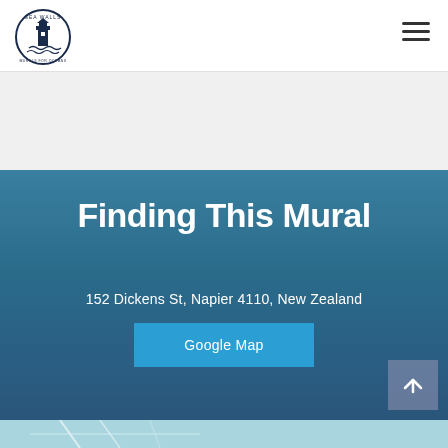[Figure (logo): Sea Walls circular logo with lighthouse illustration]
[Figure (other): Hamburger menu icon (three horizontal lines)]
Finding This Mural
152 Dickens St, Napier 4110, New Zealand
Google Map
[Figure (map): Partial map view at bottom of page]